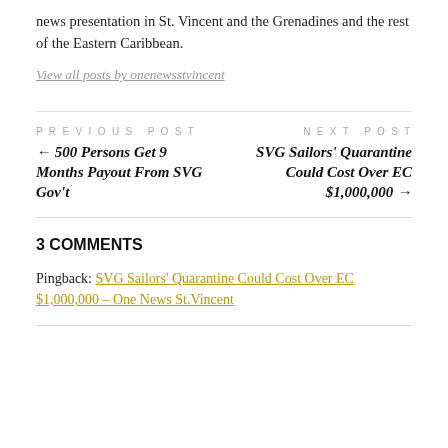news presentation in St. Vincent and the Grenadines and the rest of the Eastern Caribbean.
View all posts by onenewsstvincent
PREVIOUS POST
← 500 Persons Get 9 Months Payout From SVG Gov't
NEXT POST
SVG Sailors' Quarantine Could Cost Over EC $1,000,000 →
3 COMMENTS
Pingback: SVG Sailors' Quarantine Could Cost Over EC $1,000,000 – One News St.Vincent